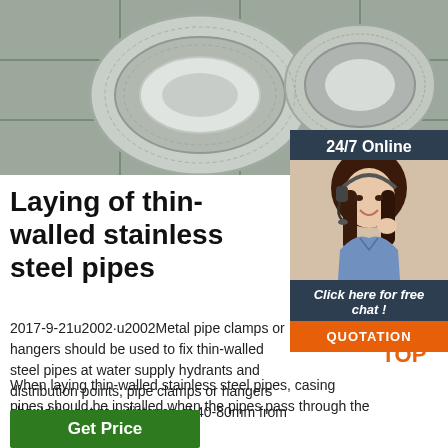[Figure (photo): Coiled stainless steel wire/pipe rolls on a tiled floor, grey metallic material]
[Figure (photo): Customer service representative woman wearing headset, smiling, with 24/7 Online banner and chat/quotation overlay]
Laying of thin-walled stainless steel pipes
2017-9-21u2002·u2002Metal pipe clamps or hangers should be used to fix thin-walled steel pipes at water supply hydrants and distribution points; pipe clamps or hangers should be set at a distance of 40-80mm from the fittings. When laying thin-walled stainless steel pipes, casing pipes should be installed when the pipes pass through the floor.
[Figure (logo): TOP badge with orange dots and text]
Get Price